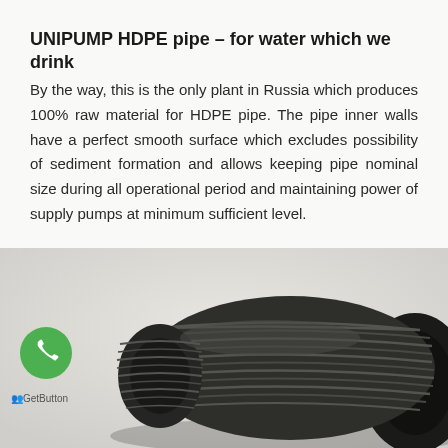UNIPUMP HDPE pipe – for water which we drink
By the way, this is the only plant in Russia which produces 100% raw material for HDPE pipe. The pipe inner walls have a perfect smooth surface which excludes possibility of sediment formation and allows keeping pipe nominal size during all operational period and maintaining power of supply pumps at minimum sufficient level.
[Figure (photo): Close-up photo of a black HDPE pipe fitting/coupling with threaded ridges, shot from a low angle against a light background.]